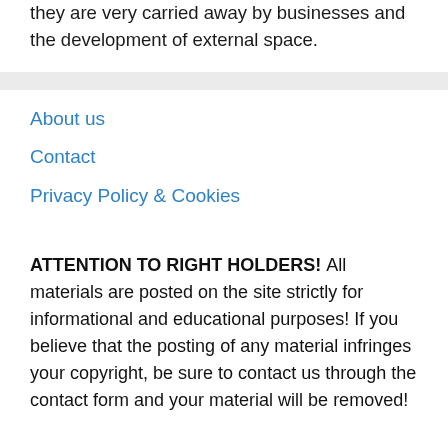they are very carried away by businesses and the development of external space.
About us
Contact
Privacy Policy & Cookies
ATTENTION TO RIGHT HOLDERS! All materials are posted on the site strictly for informational and educational purposes! If you believe that the posting of any material infringes your copyright, be sure to contact us through the contact form and your material will be removed!